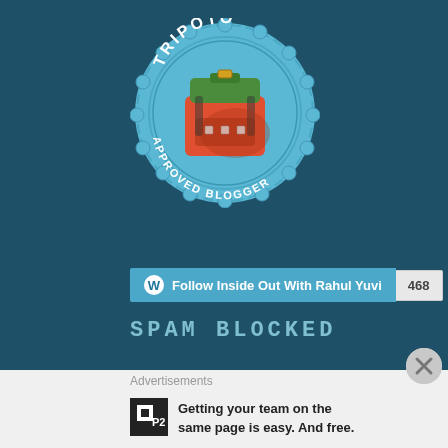[Figure (logo): Tripoto Approved Blogger badge - a circular blue badge with scalloped edge featuring a backpack icon and text 'TRIPOTO APPROVED BLOGGER' around the perimeter]
[Figure (screenshot): WordPress Follow button widget showing 'Follow Inside Out With Rahul Yuvi' with follower count 468]
SPAM BLOCKED
[Figure (other): Close/X button circle]
Advertisements
[Figure (logo): P2 logo - black square with white square inside]
Getting your team on the same page is easy. And free.